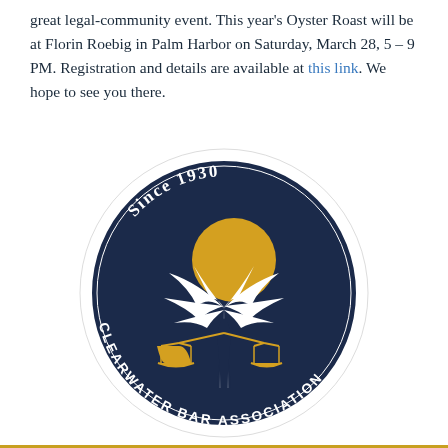great legal-community event. This year's Oyster Roast will be at Florin Roebig in Palm Harbor on Saturday, March 28, 5 – 9 PM. Registration and details are available at this link. We hope to see you there.
[Figure (logo): Clearwater Bar Association circular logo featuring a palm tree with scales of justice, gold sun, on navy blue background, with text 'Since 1930' at top and 'Clearwater Bar Association' around the bottom]